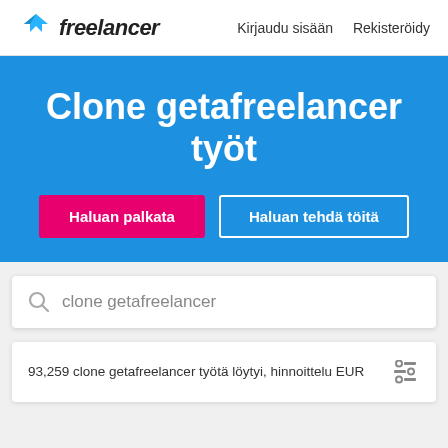Freelancer — Kirjaudu sisään   Rekisteröidy
Clone getafreelancer työt
Haluan palkata
Haluan tehdä töitä
clone getafreelancer
93,259 clone getafreelancer työtä löytyi, hinnoittelu EUR